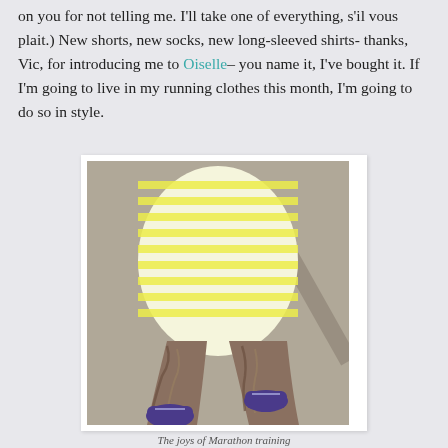on you for not telling me. I'll take one of everything, s'il vous plait.) New shorts, new socks, new long-sleeved shirts- thanks, Vic, for introducing me to Oiselle– you name it, I've bought it. If I'm going to live in my running clothes this month, I'm going to do so in style.
[Figure (photo): Person photographed from above showing torso and legs, wearing a yellow and white striped top, patterned leggings, and purple sneakers, standing on a pavement/sidewalk.]
The joys of Marathon training